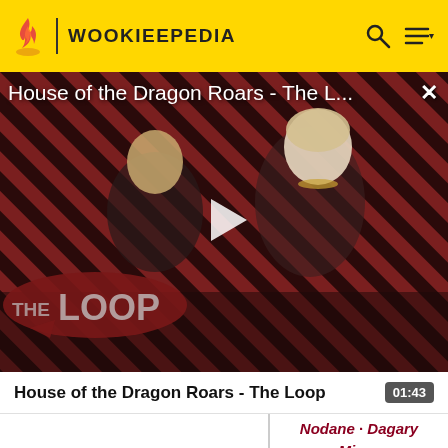WOOKIEEPEDIA
[Figure (screenshot): Video thumbnail for 'House of the Dragon Roars - The L...' showing two characters against a red/dark diagonal striped background with a play button in the center and 'THE LOOP' logo in the lower left. A close (X) button is in the top right.]
House of the Dragon Roars - The Loop
01:43
Nodane · Dagary Minor · First Omonoth · Wayland · Second Omonoth · Myrkr Thustra · Obroa ·